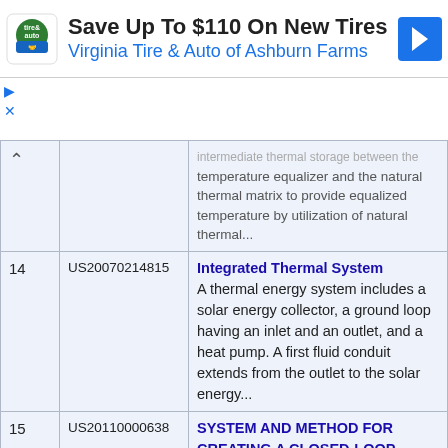[Figure (other): Advertisement banner: Save Up To $110 On New Tires - Virginia Tire & Auto of Ashburn Farms, with tire/auto logo and navigation arrow icon]
| # | Patent Number | Description |
| --- | --- | --- |
|  |  | Intermediate thermal storage between the temperature equalizer and the natural thermal matrix to provide equalized temperature by utilization of natural thermal... |
| 14 | US20070214815 | Integrated Thermal System
A thermal energy system includes a solar energy collector, a ground loop having an inlet and an outlet, and a heat pump. A first fluid conduit extends from the outlet to the solar energy... |
| 15 | US20110000638 | SYSTEM AND METHOD FOR CREATING A CLOSED-LOOP RIPARIAN GEOTHERMAL INFRASTRUCTURE
A system and method for generating and distributing a closed loop riparian geothermal energy infrastructure. This system fills the need for the average home to tie into an existing geothermal... |